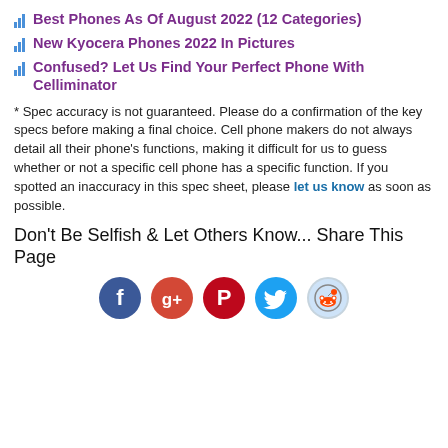Best Phones As Of August 2022 (12 Categories)
New Kyocera Phones 2022 In Pictures
Confused? Let Us Find Your Perfect Phone With Celliminator
* Spec accuracy is not guaranteed. Please do a confirmation of the key specs before making a final choice. Cell phone makers do not always detail all their phone's functions, making it difficult for us to guess whether or not a specific cell phone has a specific function. If you spotted an inaccuracy in this spec sheet, please let us know as soon as possible.
Don't Be Selfish & Let Others Know... Share This Page
[Figure (infographic): Social media share icons: Facebook, Google+, Pinterest, Twitter, Reddit]